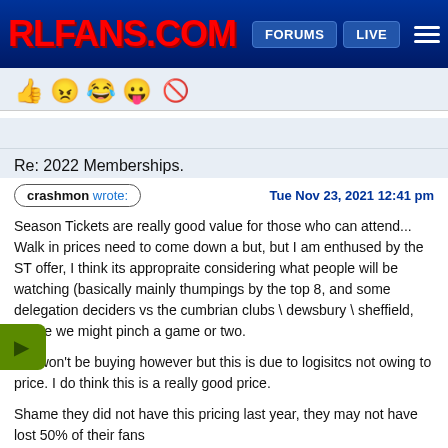RLFANS.COM | FORUMS | LIVE
[Figure (other): Reaction emoji bar with thumbs up, angry face, laughing face, face with tongue, and no-sign icons]
Re: 2022 Memberships.
crashmon wrote: | Tue Nov 23, 2021 12:41 pm
Season Tickets are really good value for those who can attend... Walk in prices need to come down a but, but I am enthused by the ST offer, I think its appropraite considering what people will be watching (basically mainly thumpings by the top 8, and some delegation deciders vs the cumbrian clubs \ dewsbury \ sheffield, where we might pinch a game or two.

We won't be buying however but this is due to logisitcs not owing to price. I do think this is a really good price.

Shame they did not have this pricing last year, they may not have lost 50% of their fans